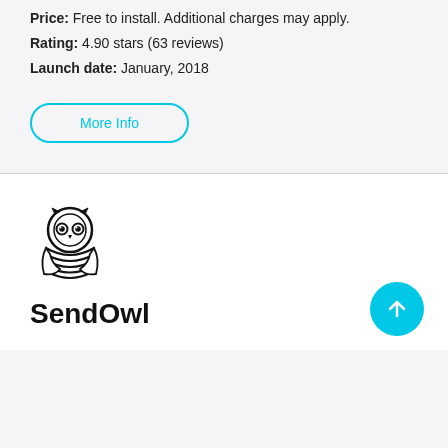Price: Free to install. Additional charges may apply.
Rating: 4.90 stars (63 reviews)
Launch date: January, 2018
More Info
[Figure (logo): SendOwl owl logo — black and white illustrated owl with lined feathers]
SendOwl